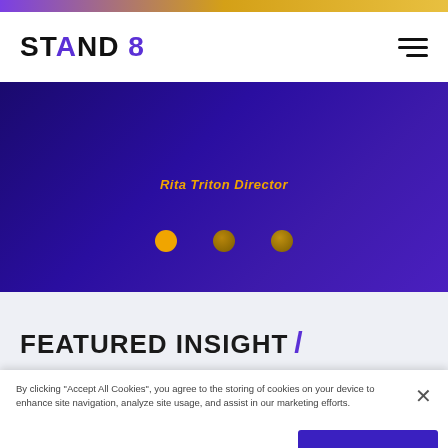[Figure (screenshot): Top gradient bar transitioning from purple to gold]
STAND 8 — navigation header with logo and hamburger menu
[Figure (other): Purple gradient hero section with partially visible text 'Rita Triton Director' in gold/orange italic, and three circular carousel indicator dots (one active gold, two inactive dark gold)]
FEATURED INSIGHT /
By clicking “Accept All Cookies”, you agree to the storing of cookies on your device to enhance site navigation, analyze site usage, and assist in our marketing efforts.